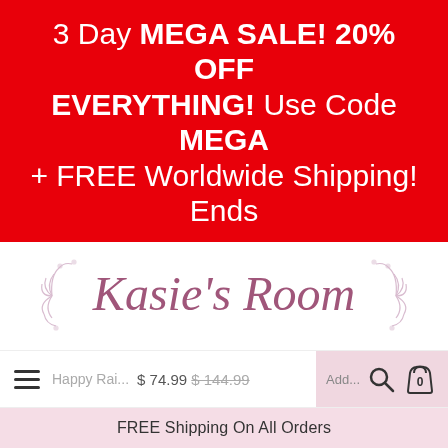3 Day MEGA SALE! 20% OFF EVERYTHING! Use Code MEGA + FREE Worldwide Shipping! Ends
[Figure (logo): Kasie's Room decorative logo with floral/leaf ornaments in pink and mauve script]
Happy Rai...  $ 74.99 $ 144.99  Add...  0
FREE Shipping On All Orders
Home > Happy Rainbows Macrame Mobile & Garland Combo
Pink/White
We use cookies to improve your experience and track website usage. Privacy Policy  OK